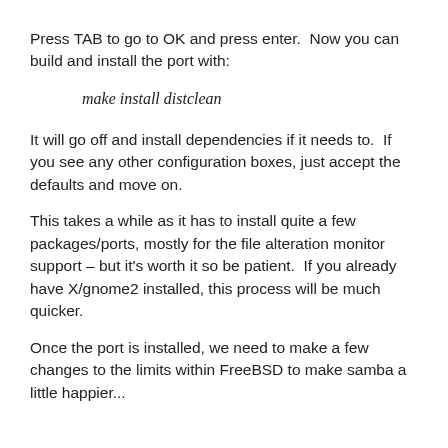Press TAB to go to OK and press enter.  Now you can build and install the port with:
make install distclean
It will go off and install dependencies if it needs to.  If you see any other configuration boxes, just accept the defaults and move on.
This takes a while as it has to install quite a few packages/ports, mostly for the file alteration monitor support – but it's worth it so be patient.  If you already have X/gnome2 installed, this process will be much quicker.
Once the port is installed, we need to make a few changes to the limits within FreeBSD to make samba a little happier...